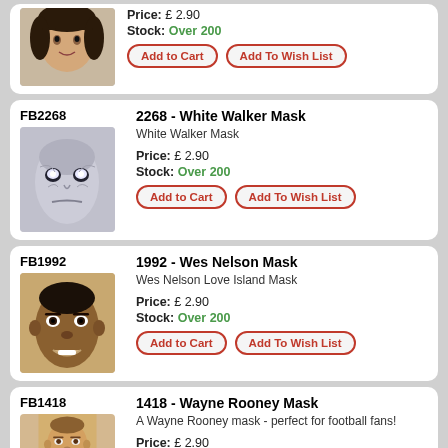[Figure (photo): Partial product card at top showing a woman face mask photo with price and stock and buttons]
Price: £ 2.90
Stock: Over 200
Add to Cart | Add To Wish List
FB2268
2268 - White Walker Mask
White Walker Mask
Price: £ 2.90
Stock: Over 200
Add to Cart | Add To Wish List
FB1992
1992 - Wes Nelson Mask
Wes Nelson Love Island Mask
Price: £ 2.90
Stock: Over 200
Add to Cart | Add To Wish List
FB1418
1418 - Wayne Rooney Mask
A Wayne Rooney mask - perfect for football fans!
Price: £ 2.90